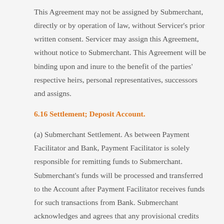This Agreement may not be assigned by Submerchant, directly or by operation of law, without Servicer's prior written consent. Servicer may assign this Agreement, without notice to Submerchant. This Agreement will be binding upon and inure to the benefit of the parties' respective heirs, personal representatives, successors and assigns.
6.16 Settlement; Deposit Account.
(a) Submerchant Settlement. As between Payment Facilitator and Bank, Payment Facilitator is solely responsible for remitting funds to Submerchant. Submerchant's funds will be processed and transferred to the Account after Payment Facilitator receives funds for such transactions from Bank. Submerchant acknowledges and agrees that any provisional credits made to the Account are subject to Chargebacks and fees.  Payment Facilitator is  hereby authorized by